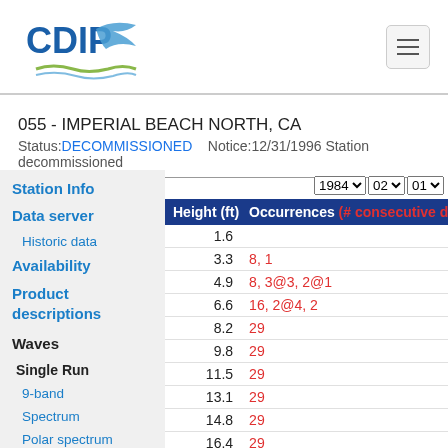CDIP (logo) navigation header
055 - IMPERIAL BEACH NORTH, CA
Status: DECOMMISSIONED   Notice: 12/31/1996 Station decommissioned
Station Info
Data server
Historic data
Availability
Product descriptions
Waves
Single Run
9-band
Spectrum
Polar spectrum
| Height (ft) | Occurrences (# consecutive data...) |
| --- | --- |
| 1.6 |  |
| 3.3 | 8, 1 |
| 4.9 | 8, 3@3, 2@1 |
| 6.6 | 16, 2@4, 2 |
| 8.2 | 29 |
| 9.8 | 29 |
| 11.5 | 29 |
| 13.1 | 29 |
| 14.8 | 29 |
| 16.4 | 29 |
| 18.0 | 29 |
| 19.7 | 29 |
| 21.3 | 29 |